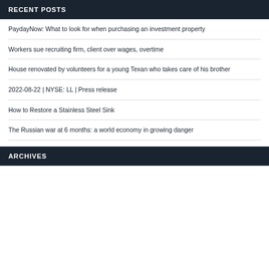RECENT POSTS
PaydayNow: What to look for when purchasing an investment property
Workers sue recruiting firm, client over wages, overtime
House renovated by volunteers for a young Texan who takes care of his brother
2022-08-22 | NYSE: LL | Press release
How to Restore a Stainless Steel Sink
The Russian war at 6 months: a world economy in growing danger
ARCHIVES